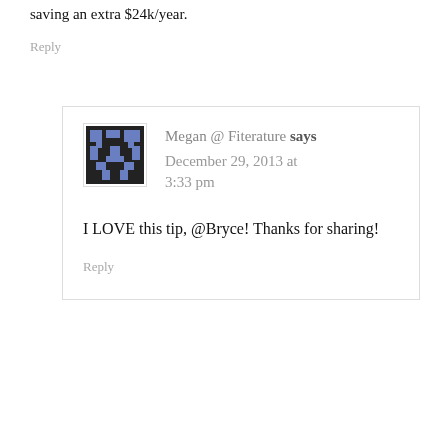saving an extra $24k/year.
Reply
Megan @ Fiterature says December 29, 2013 at 3:33 pm
I LOVE this tip, @Bryce! Thanks for sharing!
Reply